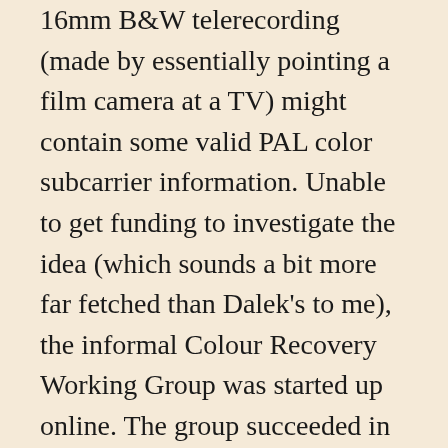16mm B&W telerecording (made by essentially pointing a film camera at a TV) might contain some valid PAL color subcarrier information. Unable to get funding to investigate the idea (which sounds a bit more far fetched than Dalek's to me), the informal Colour Recovery Working Group was started up online. The group succeeded in recovering color information from the telerecording. Meanwhile the Restoration Team commissioned Legend Films to colorize the episode (a process that's come a long way since Turner, but can still look a bit flat in the end). The finished version blends these two sources together, then processes them via VidFIRE (the process of restoring the original 50 field per second interlaced image from a telecine, another